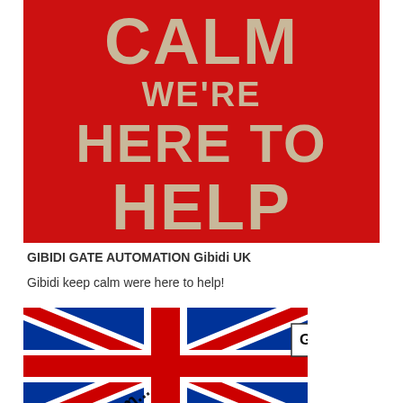[Figure (illustration): Keep Calm and We're Here To Help poster with red background and beige/cream text]
GIBIDI GATE AUTOMATION Gibidi UK
Gibidi keep calm were here to help!
[Figure (illustration): Union Jack (UK flag) with GIBIDI branding and www.gibidim... website URL overlaid diagonally]